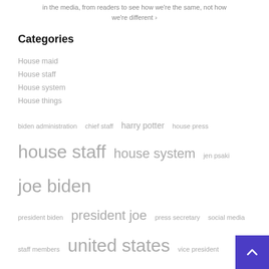in the media, from readers to see how we're the same, not how we're different ›
Categories
House maid
House staff
House system
House things
biden administration  chief staff  harry potter  house press  house staff  house system  jen psaki  joe biden  president biden  president joe  press secretary  social media  staff members  united states  vice president  white house